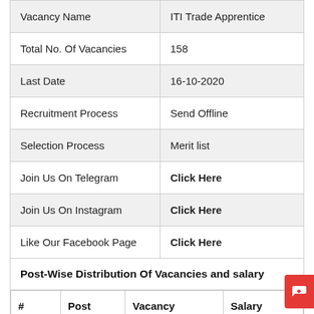|  |  |
| --- | --- |
| Vacancy Name | ITI Trade Apprentice |
| Total No. Of Vacancies | 158 |
| Last Date | 16-10-2020 |
| Recruitment Process | Send Offline |
| Selection Process | Merit list |
| Join Us On Telegram | Click Here |
| Join Us On Instagram | Click Here |
| Like Our Facebook Page | Click Here |
| Post-Wise Distribution Of Vacancies and salary |  |
| #  Post  Vacancy  Salary |  |